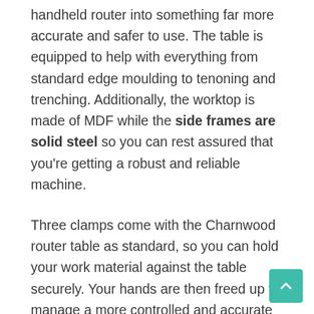handheld router into something far more accurate and safer to use. The table is equipped to help with everything from standard edge moulding to tenoning and trenching. Additionally, the worktop is made of MDF while the side frames are solid steel so you can rest assured that you're getting a robust and reliable machine.
Three clamps come with the Charnwood router table as standard, so you can hold your work material against the table securely. Your hands are then freed up to manage a more controlled and accurate cut. Additionally, there's a Perspex guard to ensure that you don't have to worry about a piece of wood or